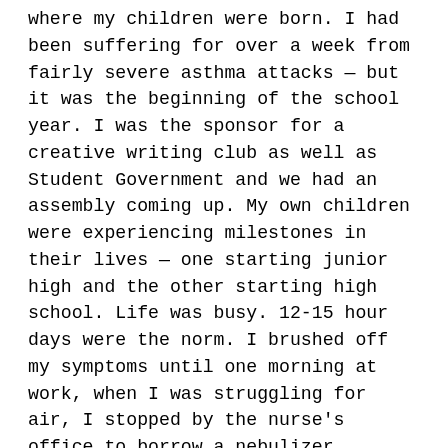where my children were born. I had been suffering for over a week from fairly severe asthma attacks — but it was the beginning of the school year. I was the sponsor for a creative writing club as well as Student Government and we had an assembly coming up. My own children were experiencing milestones in their lives — one starting junior high and the other starting high school. Life was busy. 12-15 hour days were the norm. I brushed off my symptoms until one morning at work, when I was struggling for air, I stopped by the nurse's office to borrow a nebulizer